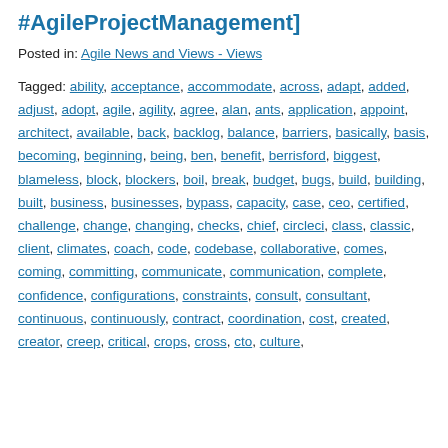#AgileProjectManagement]
Posted in: Agile News and Views - Views
Tagged: ability, acceptance, accommodate, across, adapt, added, adjust, adopt, agile, agility, agree, alan, ants, application, appoint, architect, available, back, backlog, balance, barriers, basically, basis, becoming, beginning, being, ben, benefit, berrisford, biggest, blameless, block, blockers, boil, break, budget, bugs, build, building, built, business, businesses, bypass, capacity, case, ceo, certified, challenge, change, changing, checks, chief, circleci, class, classic, client, climates, coach, code, codebase, collaborative, comes, coming, committing, communicate, communication, complete, confidence, configurations, constraints, consult, consultant, continuous, continuously, contract, coordination, cost, created, creator, creep, critical, crops, cross, cto, culture,